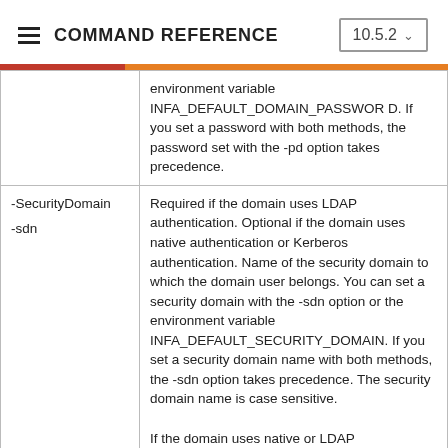COMMAND REFERENCE  10.5.2
| Option | Description |
| --- | --- |
|  | environment variable INFA_DEFAULT_DOMAIN_PASSWORD. If you set a password with both methods, the password set with the -pd option takes precedence. |
| -SecurityDomain
-sdn | Required if the domain uses LDAP authentication. Optional if the domain uses native authentication or Kerberos authentication. Name of the security domain to which the domain user belongs. You can set a security domain with the -sdn option or the environment variable INFA_DEFAULT_SECURITY_DOMAIN. If you set a security domain name with both methods, the -sdn option takes precedence. The security domain name is case sensitive.

If the domain uses native or LDAP |